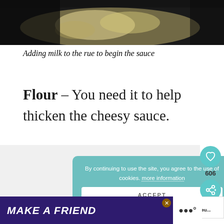[Figure (photo): Close-up photo of food (sauce/roux being made) on dark background]
Adding milk to the rue to begin the sauce
Flour – You need it to help thicken the cheesy sauce.
[Figure (screenshot): Cookie consent banner with teal background saying: By continuing to use the site, you agree to the use of cookies. more information [ACCEPT button]]
[Figure (screenshot): WHAT'S NEXT arrow: Chicken Cordon Bleu... with thumbnail]
[Figure (screenshot): Advertisement banner: MAKE A FRIEND with dog image, purple background]